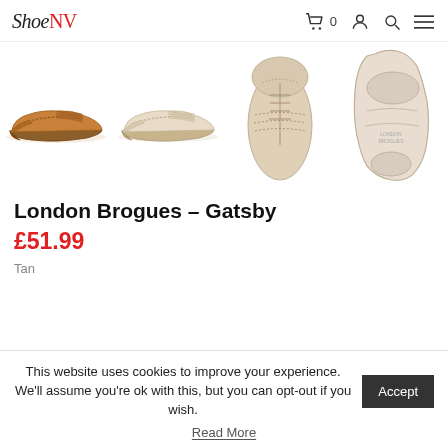ShoeNW - navigation header with cart, login, search, menu icons
[Figure (photo): Four product images of London Brogues Gatsby shoe: tan brogue side view, cream/white brogue side view, cream brogue top-down view, cream sole/bottom view]
London Brogues – Gatsby
£51.99
Tan
This website uses cookies to improve your experience. We'll assume you're ok with this, but you can opt-out if you wish.
Accept
Read More